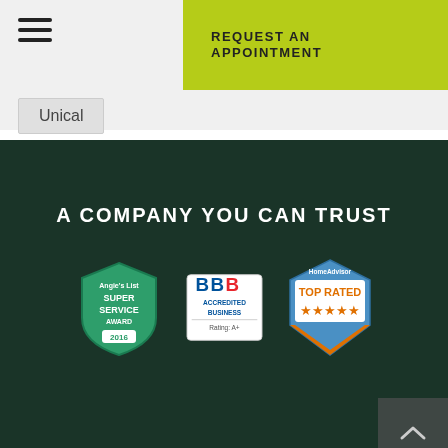REQUEST AN APPOINTMENT
Unical
A COMPANY YOU CAN TRUST
[Figure (logo): Angie's List Super Service Award 2016 badge - green shield shape]
[Figure (logo): BBB Accredited Business Rating A+ badge]
[Figure (logo): HomeAdvisor Top Rated badge with stars]